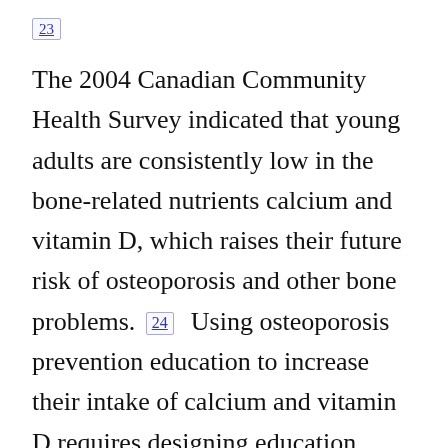23
The 2004 Canadian Community Health Survey indicated that young adults are consistently low in the bone-related nutrients calcium and vitamin D, which raises their future risk of osteoporosis and other bone problems. [24] Using osteoporosis prevention education to increase their intake of calcium and vitamin D requires designing education programs that are tailored to the lifestyles and information-seeking practices of young adults. [20] While the literature